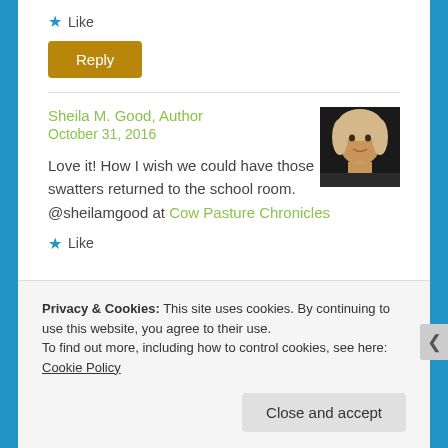★ Like
Reply
Sheila M. Good, Author
October 31, 2016
[Figure (photo): Author avatar photo of Sheila M. Good, a blonde woman]
Love it! How I wish we could have those swatters returned to the school room. @sheilamgood at Cow Pasture Chronicles
★ Like
Privacy & Cookies: This site uses cookies. By continuing to use this website, you agree to their use.
To find out more, including how to control cookies, see here: Cookie Policy
Close and accept